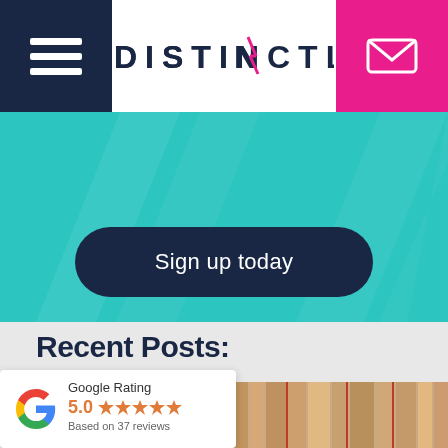[Figure (logo): DISTINCTLY logo with pink lightning bolt N, dark navy background hamburger menu on left, pink email icon on right]
[Figure (infographic): Teal/turquoise banner section with diagonal stripes and a dark navy pill-shaped button reading 'Sign up today']
Recent Posts:
[Figure (photo): Books stacked horizontally, viewed from spines, warm beige tones]
[Figure (infographic): Google Rating widget showing 5.0 stars based on 37 reviews with Google G logo]